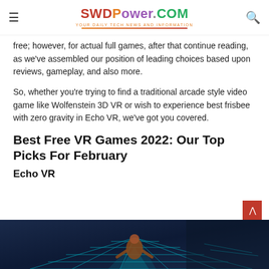SWDPower.com — Your Daily Tech News and Information
free; however, for actual full games, after that continue reading, as we've assembled our position of leading choices based upon reviews, gameplay, and also more.
So, whether you're trying to find a traditional arcade style video game like Wolfenstein 3D VR or wish to experience best frisbee with zero gravity in Echo VR, we've got you covered.
Best Free VR Games 2022: Our Top Picks For February
Echo VR
[Figure (photo): Screenshot or game art from Echo VR showing a player character in a dark sci-fi environment with glowing cyan geometric floor patterns]